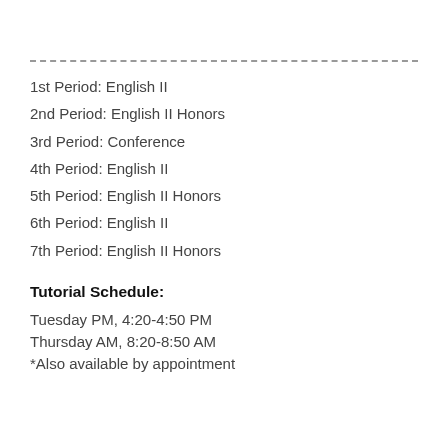1st Period: English II
2nd Period: English II Honors
3rd Period: Conference
4th Period: English II
5th Period: English II Honors
6th Period: English II
7th Period: English II Honors
Tutorial Schedule:
Tuesday PM, 4:20-4:50 PM
Thursday AM, 8:20-8:50 AM
*Also available by appointment